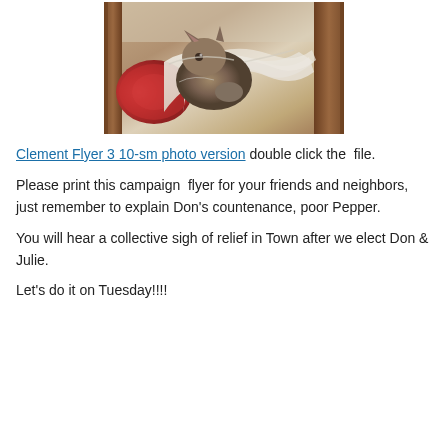[Figure (photo): A kitten wrapped in or playing with white fabric/cloth, on what appears to be a wooden bed or chair with a decorative pillow visible in the background.]
Clement Flyer 3 10-sm photo version double click the file.
Please print this campaign flyer for your friends and neighbors, just remember to explain Don’s countenance, poor Pepper.
You will hear a collective sigh of relief in Town after we elect Don & Julie.
Let’s do it on Tuesday!!!!